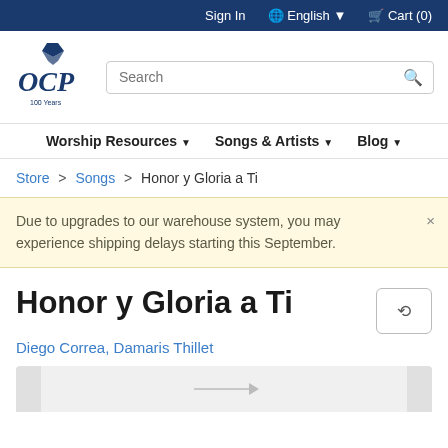Sign In  English  Cart (0)
[Figure (logo): OCP 100 Years logo in dark navy blue]
Search
Worship Resources   Songs & Artists   Blog
Store > Songs > Honor y Gloria a Ti
Due to upgrades to our warehouse system, you may experience shipping delays starting this September.
Honor y Gloria a Ti
Diego Correa, Damaris Thillet